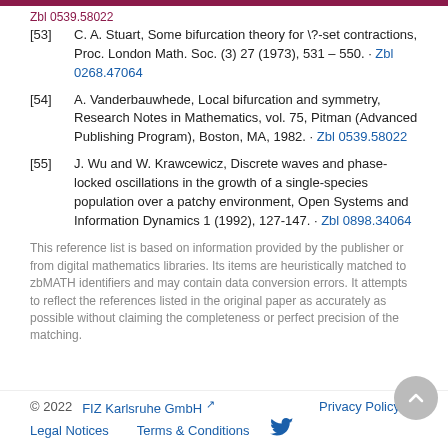[53] C. A. Stuart, Some bifurcation theory for \?-set contractions, Proc. London Math. Soc. (3) 27 (1973), 531 – 550. · Zbl 0268.47064
[54] A. Vanderbauwhede, Local bifurcation and symmetry, Research Notes in Mathematics, vol. 75, Pitman (Advanced Publishing Program), Boston, MA, 1982. · Zbl 0539.58022
[55] J. Wu and W. Krawcewicz, Discrete waves and phase-locked oscillations in the growth of a single-species population over a patchy environment, Open Systems and Information Dynamics 1 (1992), 127-147. · Zbl 0898.34064
This reference list is based on information provided by the publisher or from digital mathematics libraries. Its items are heuristically matched to zbMATH identifiers and may contain data conversion errors. It attempts to reflect the references listed in the original paper as accurately as possible without claiming the completeness or perfect precision of the matching.
© 2022   FIZ Karlsruhe GmbH   Privacy Policy   Legal Notices   Terms & Conditions